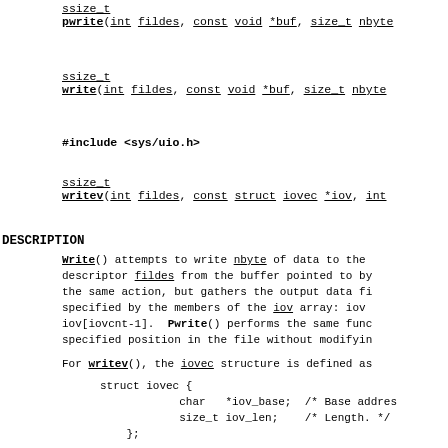ssize_t
pwrite(int fildes, const void *buf, size_t nbyte
ssize_t
write(int fildes, const void *buf, size_t nbyte
#include <sys/uio.h>
ssize_t
writev(int fildes, const struct iovec *iov, int
DESCRIPTION
Write() attempts to write nbyte of data to the descriptor fildes from the buffer pointed to by the same action, but gathers the output data fi specified by the members of the iov array: iov iov[iovcnt-1]. Pwrite() performs the same func specified position in the file without modifyin
For writev(), the iovec structure is defined as
Each iovec entry specifies the base address and ory from which data should be written. Writev() plete area before proceeding to the next.